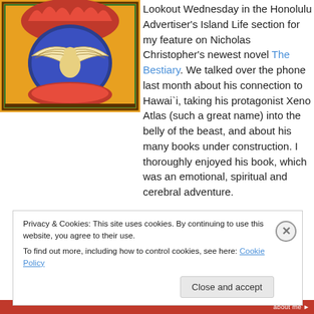[Figure (illustration): Medieval illuminated manuscript illustration showing a bird (phoenix or dove) with spread wings on a blue oval/egg shape, surrounded by red flames and decorative border, in warm yellow-orange and blue tones.]
Lookout Wednesday in the Honolulu Advertiser's Island Life section for my feature on Nicholas Christopher's newest novel The Bestiary. We talked over the phone last month about his connection to Hawai`i, taking his protagonist Xeno Atlas (such a great name) into the belly of the beast, and about his many books under construction. I thoroughly enjoyed his book, which was an emotional, spiritual and cerebral adventure.
Privacy & Cookies: This site uses cookies. By continuing to use this website, you agree to their use.
To find out more, including how to control cookies, see here: Cookie Policy
Close and accept